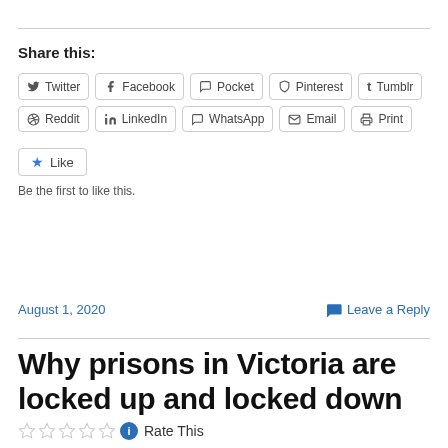Share this:
Twitter
Facebook
Pocket
Pinterest
Tumblr
Reddit
LinkedIn
WhatsApp
Email
Print
Like
Be the first to like this.
August 1, 2020
Leave a Reply
Why prisons in Victoria are locked up and locked down
Rate This